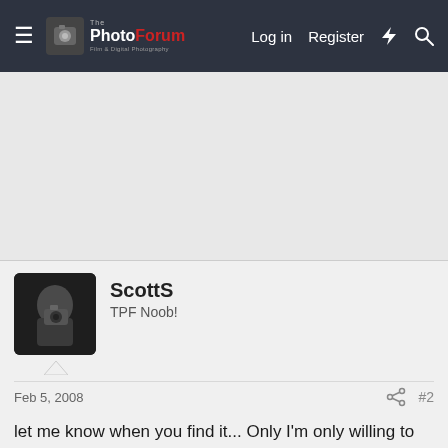ThePhotoForum — Log in  Register
[Figure (photo): Advertisement banner area (light gray)]
[Figure (photo): User avatar photo of ScottS holding a camera]
ScottS
TPF Noob!
Feb 5, 2008  #2
let me know when you find it... Only I'm only willing to pay $500 for it. 😀
ScottS